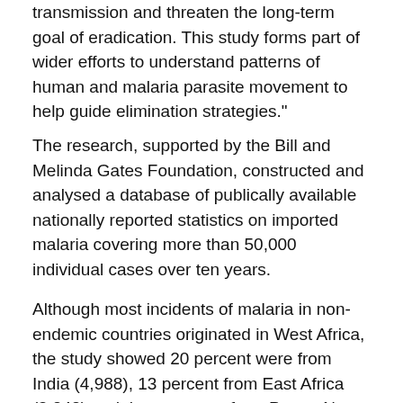transmission and threaten the long-term goal of eradication. This study forms part of wider efforts to understand patterns of human and malaria parasite movement to help guide elimination strategies."
The research, supported by the Bill and Melinda Gates Foundation, constructed and analysed a database of publically available nationally reported statistics on imported malaria covering more than 50,000 individual cases over ten years.
Although most incidents of malaria in non-endemic countries originated in West Africa, the study showed 20 percent were from India (4,988), 13 percent from East Africa (3,242) and three percent from Papua New Guinea (748). While the West Africa to France and UK routes showed the strongest imported malaria link, other high traffic routes included USA-India (142...